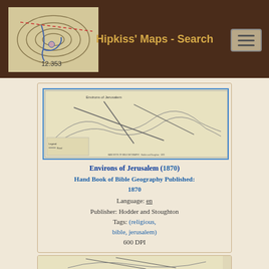Hipkiss' Maps - Search
[Figure (map): Topographic map thumbnail showing contour lines and blue ink markings with number 12.353, used as site logo]
[Figure (map): Historical map of Environs of Jerusalem (1870) from Hand Book of Bible Geography]
Environs of Jerusalem (1870)
Hand Book of Bible Geography Published: 1870
Language: en
Publisher: Hodder and Stoughton
Tags: (religious, bible, jerusalem)
600 DPI
[Figure (map): Partial second historical map shown at bottom of page, partially cropped]